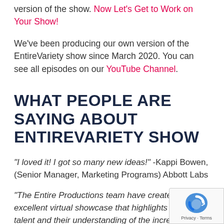version of the show. Now Let's Get to Work on Your Show!
We've been producing our own version of the EntireVariety show since March 2020. You can see all episodes on our YouTube Channel.
WHAT PEOPLE ARE SAYING ABOUT ENTIREVARIETY SHOW
"I loved it! I got so many new ideas!" -Kappi Bowen, (Senior Manager, Marketing Programs) Abbott Labs
"The Entire Productions team have created an excellent virtual showcase that highlights both their talent and their understanding of the increasing value of interactive elements in the virtual and digital space." Jenn Hagan, (Senior Director for